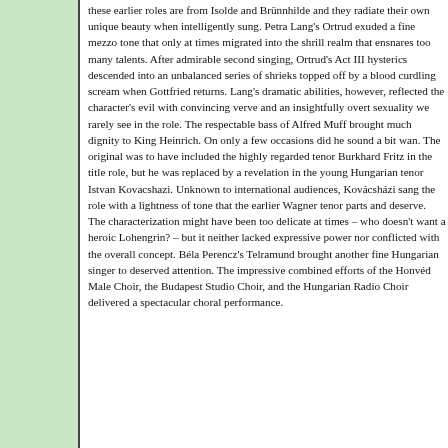these earlier roles are from Isolde and Brünnhilde and they radiate their own unique beauty when intelligently sung. Petra Lang's Ortrud exuded a fine mezzo tone that only at times migrated into the shrill realm that ensnares too many talents. After admirable second act singing, Ortrud's Act III hysterics descended into an unbalanced series of shrieks topped off by a blood curdling scream when Gottfried returns. Lang's dramatic abilities, however, reflected the character's evil with convincing verve and an insightfully overt sexuality we rarely see in the role. The respectable bass of Alfred Muff brought much dignity to King Heinrich. On only a few occasions did he sound a bit wan. The original cast was to have included the highly regarded tenor Burkhard Fritz in the title role, but he was replaced by a revelation in the young Hungarian tenor Istvan Kovacshazi. Unknown to international audiences, Kovácsházi sang the role with a lightness of tone that the earlier Wagner tenor parts need and deserve. The characterization might have been a bit too delicate at times – who doesn't want a heroic Lohengrin? – but it neither lacked expressive power nor conflicted with the overall concept. Béla Perencz's Telramund brought another fine Hungarian singer to deserved attention. The impressive combined efforts of the Honvéd Male Choir, the Budapest Studio Choir, and the Hungarian Radio Choir delivered a spectacular choral performance.